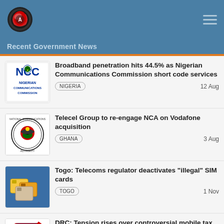Recent Government News
Broadband penetration hits 44.5% as Nigerian Communications Commission short code services | NIGERIA | 12 Aug
Telecel Group to re-engage NCA on Vodafone acquisition | GHANA | 3 Aug
Togo: Telecoms regulator deactivates “illegal” SIM cards | TOGO | 1 Nov
DRC: Tension rises over controversial mobile tax (RAM) | DEMOCRATIC REPUBLIC OF CONGO | 19 Oct